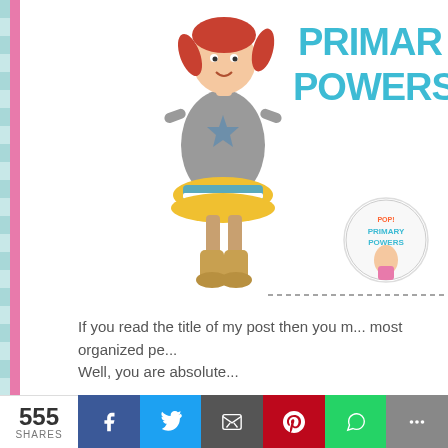[Figure (illustration): Blog header banner showing a cartoon girl character wearing a star-patterned dress and boots, with text 'PRIMARY POWERS' in teal lettering and a circular logo badge saying 'Primary Powers']
If you read the title of my post then you m... most organized pe... Well, you are absolute...
I don't know about you, but I am consta... more organized. I even have 2 Pinte... classroom and one for home - where I pi... I plan-on-doing probably will never do, b... am just as excited as you might be to be...
555 SHARES | Facebook | Twitter | Email | Pinterest | WhatsApp | More